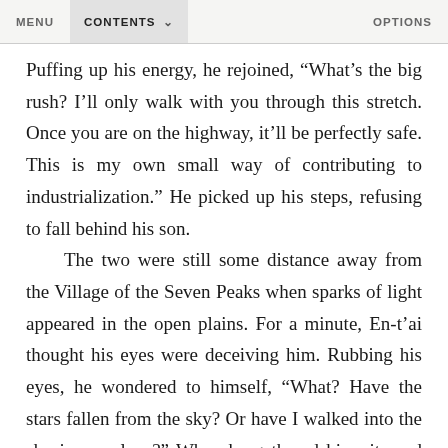MENU   CONTENTS   OPTIONS
Puffing up his energy, he rejoined, “What’s the big rush? I’ll only walk with you through this stretch. Once you are on the highway, it’ll be perfectly safe. This is my own small way of contributing to industrialization.” He picked up his steps, refusing to fall behind his son.

The two were still some distance away from the Village of the Seven Peaks when sparks of light appeared in the open plains. For a minute, En-t’ai thought his eyes were deceiving him. Rubbing his eyes, he wondered to himself, “What? Have the stars fallen from the sky? Or have I walked into the sky in my sleep?” When he gathered his wits and listened, he caught sounds of hubbub and laughter through the night air. As they got